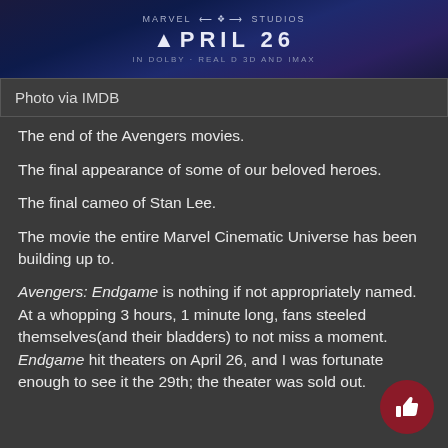[Figure (photo): Avengers movie promotional banner showing 'APRIL 26' text against a dark blue cinematic background with Marvel branding]
Photo via IMDB
The end of the Avengers movies.
The final appearance of some of our beloved heroes.
The final cameo of Stan Lee.
The movie the entire Marvel Cinematic Universe has been building up to.
Avengers: Endgame is nothing if not appropriately named. At a whopping 3 hours, 1 minute long, fans steeled themselves(and their bladders) to not miss a moment. Endgame hit theaters on April 26, and I was fortunate enough to see it the 29th; the theater was sold out.